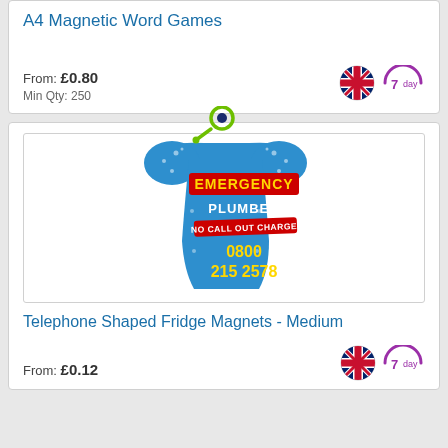A4 Magnetic Word Games
From: £0.80
Min Qty: 250
[Figure (photo): Telephone shaped fridge magnet product image showing a blue telephone shape with text: EMERGENCY PLUMBER, NO CALL OUT CHARGE, 0800 215 2578]
Telephone Shaped Fridge Magnets - Medium
From: £0.12